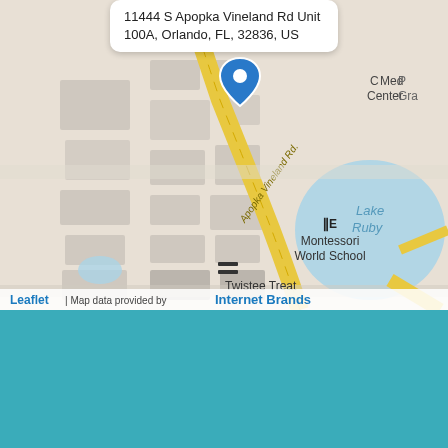11444 S Apopka Vineland Rd Unit 100A, Orlando, FL, 32836, US
[Figure (map): Street map showing location on Apopka Vineland Rd in Orlando, FL near Montessori World School, Lake Ruby, and Twistee Treat. A blue pin marker is placed at the clinic location. Map credit: Leaflet | Map data provided by Internet Brands.]
OFFICE HOURS
Main Locations
Accessibility View